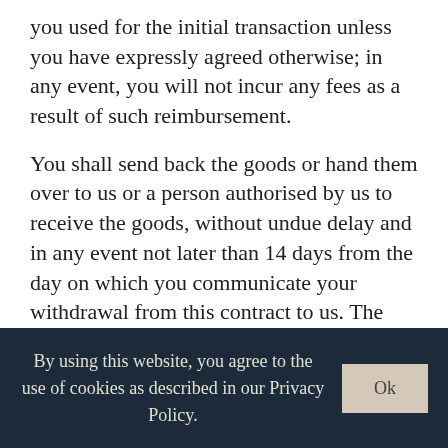you used for the initial transaction unless you have expressly agreed otherwise; in any event, you will not incur any fees as a result of such reimbursement.
You shall send back the goods or hand them over to us or a person authorised by us to receive the goods, without undue delay and in any event not later than 14 days from the day on which you communicate your withdrawal from this contract to us. The deadline is met if you send back the goods before the period of 14 days has expired.
We may withhold reimbursement until we have received the goods back or you have supplied evidence of having sent back the goods, whichever is the
By using this website, you agree to the use of cookies as described in our Privacy Policy.